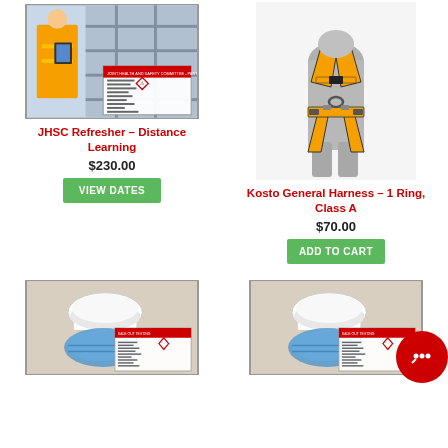[Figure (photo): JHSC Refresher Distance Learning course product image showing worker in safety vest with tablet]
[Figure (photo): Kosto General Harness 1 Ring Class A product photo showing yellow safety harness on mannequin]
JHSC Refresher – Distance Learning
$230.00
VIEW DATES
Kosto General Harness – 1 Ring, Class A
$70.00
ADD TO CART
[Figure (photo): PPE safety product image showing hard hat and masks with GHS label]
[Figure (photo): PPE safety product image showing hard hat and masks with GHS label (second)]